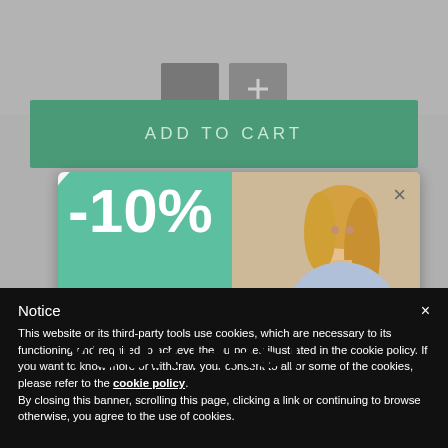[Figure (screenshot): E-commerce page top area with gray background showing small product thumbnails and a plus icon]
ADD TO CART
[Figure (infographic): Promotional popup showing -10% OFF ON YOUR FIRST with teal circle and model photo, with an X close button]
Notice
This website or its third-party tools use cookies, which are necessary to its functioning and required to achieve the purposes illustrated in the cookie policy. If you want to know more or withdraw your consent to all or some of the cookies, please refer to the cookie policy.
By closing this banner, scrolling this page, clicking a link or continuing to browse otherwise, you agree to the use of cookies.